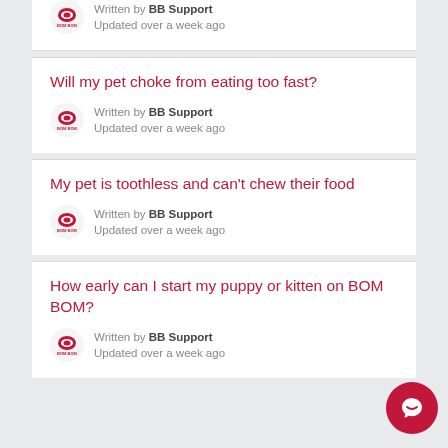Written by BB Support
Updated over a week ago
Will my pet choke from eating too fast?
Written by BB Support
Updated over a week ago
My pet is toothless and can't chew their food
Written by BB Support
Updated over a week ago
How early can I start my puppy or kitten on BOM BOM?
Written by BB Support
Updated over a week ago